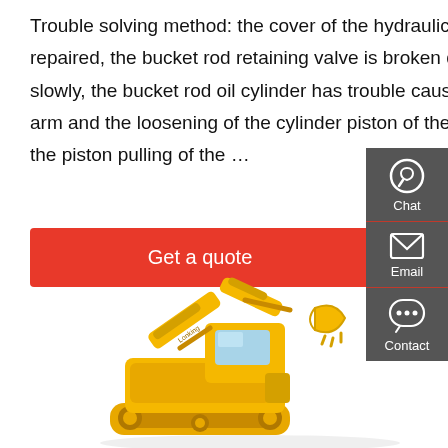Trouble solving method: the cover of the hydraulic pump of the excavator is worn, needs to be repaired, the bucket rod retaining valve is broken down, the middle arm of the excavator opens slowly, the bucket rod oil cylinder has trouble causing the slow opening of the excavator's middle arm and the loosening of the cylinder piston of the excavator, the need for tightening or reinstalling, the piston pulling of the …
Get a quote
[Figure (photo): Yellow Lonking excavator on white background, side view showing boom, arm and bucket]